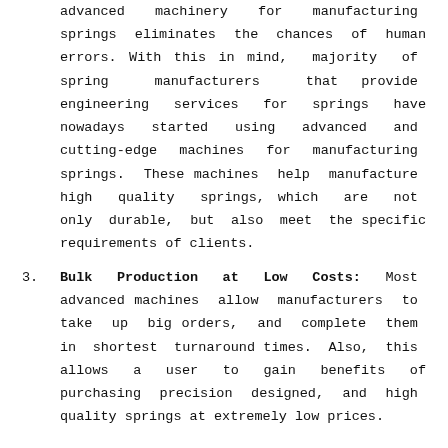advanced machinery for manufacturing springs eliminates the chances of human errors. With this in mind, majority of spring manufacturers that provide engineering services for springs have nowadays started using advanced and cutting-edge machines for manufacturing springs. These machines help manufacture high quality springs, which are not only durable, but also meet the specific requirements of clients.
3. Bulk Production at Low Costs: Most advanced machines allow manufacturers to take up big orders, and complete them in shortest turnaround times. Also, this allows a user to gain benefits of purchasing precision designed, and high quality springs at extremely low prices.